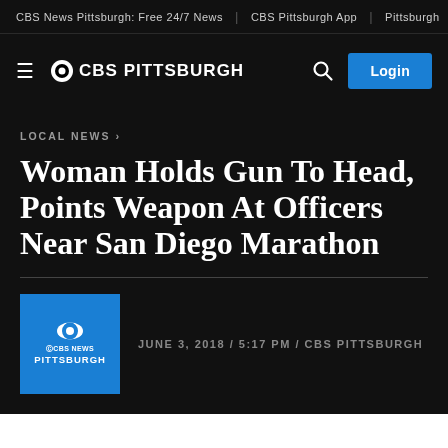CBS News Pittsburgh: Free 24/7 News | CBS Pittsburgh App | Pittsburgh
[Figure (logo): CBS Pittsburgh navigation bar with hamburger menu, CBS Pittsburgh logo, search icon, and Login button]
LOCAL NEWS ›
Woman Holds Gun To Head, Points Weapon At Officers Near San Diego Marathon
JUNE 3, 2018 / 5:17 PM / CBS PITTSBURGH